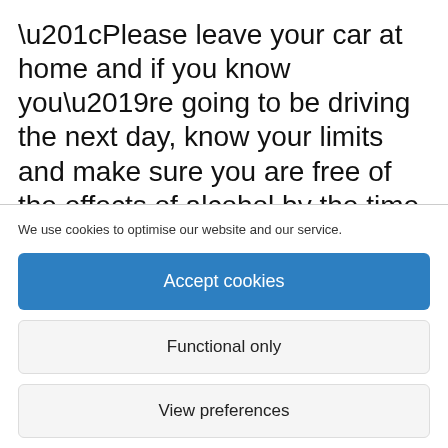“Please leave your car at home and if you know you’re going to be driving the next day, know your limits and make sure you are free of the effects of alcohol by the time you get behind the wheel.
“Lastly, remember that the 999 number
We use cookies to optimise our website and our service.
Accept cookies
Functional only
View preferences